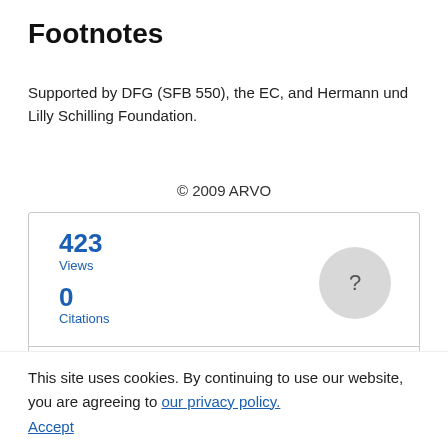Footnotes
Supported by DFG (SFB 550), the EC, and Hermann und Lilly Schilling Foundation.
© 2009 ARVO
[Figure (infographic): Metrics widget showing 423 Views, 0 Citations, a grey circle with a question mark, and a View Metrics button.]
This site uses cookies. By continuing to use our website, you are agreeing to our privacy policy. Accept